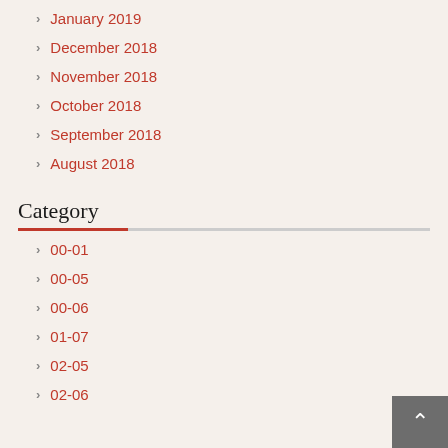January 2019
December 2018
November 2018
October 2018
September 2018
August 2018
Category
00-01
00-05
00-06
01-07
02-05
02-06